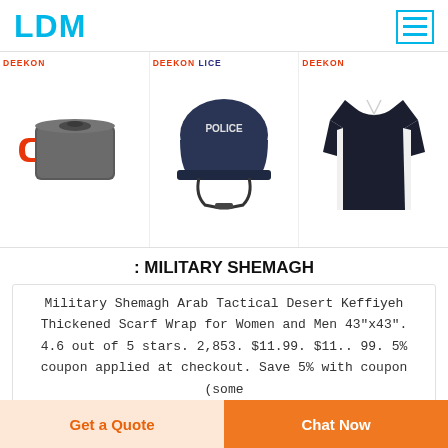LDM
[Figure (photo): Three product images side by side: a dark grey cookware pot with red handle strap (DEEKON brand), a dark blue police helmet with chin strap and 'POLICE' text (DEEKON brand), and a dark navy long-sleeve rugby/polo shirt (DEEKON brand)]
: MILITARY SHEMAGH
Military Shemagh Arab Tactical Desert Keffiyeh Thickened Scarf Wrap for Women and Men 43"x43". 4.6 out of 5 stars. 2,853. $11.99. $11.. 99. 5% coupon applied at checkout. Save 5% with coupon (some